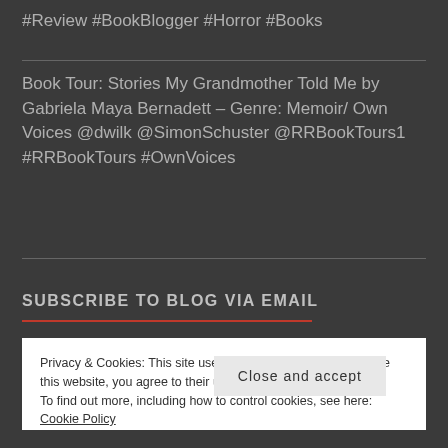#Review #BookBlogger #Horror #Books
Book Tour: Stories My Grandmother Told Me by Gabriela Maya Bernadett – Genre: Memoir/ Own Voices @dwilk @SimonSchuster @RRBookTours1 #RRBookTours #OwnVoices
SUBSCRIBE TO BLOG VIA EMAIL
Privacy & Cookies: This site uses cookies. By continuing to use this website, you agree to their use.
To find out more, including how to control cookies, see here: Cookie Policy
Close and accept